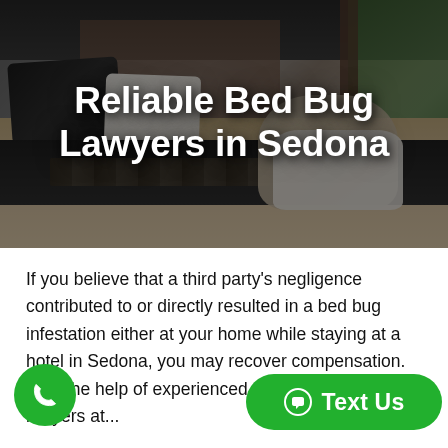[Figure (photo): Photograph of a hotel/bedroom scene showing a bed with black and white pillows, dark blanket, wooden wall panels and window with greenery in background. Semi-transparent dark overlay applied. Title text overlaid.]
Reliable Bed Bug Lawyers in Sedona
If you believe that a third party's negligence contributed to or directly resulted in a bed bug infestation either at your home while staying at a hotel in Sedona, you may recover compensation. With the help of experienced Sedona bed bug lawyers at...